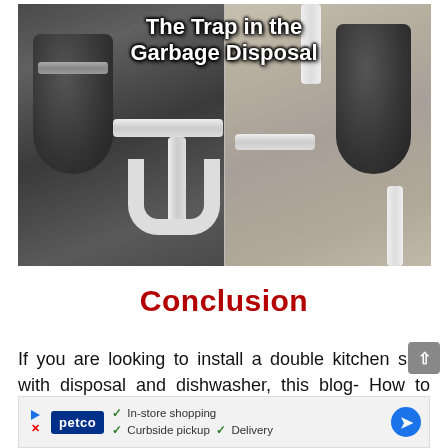[Figure (photo): Two side-by-side photos of garbage disposals installed under kitchen sink, showing plumbing and trap configurations. Title overlay reads 'The Trap in the Garbage Disposal'.]
Conclusion
If you are looking to install a double kitchen sink with disposal and dishwasher, this blog- How to Plumb a Double Kitchen Sink With Disposal And
[Figure (infographic): Petco advertisement banner showing: In-store shopping, Curbside pickup, Delivery options with play/ad icons and navigation arrow.]